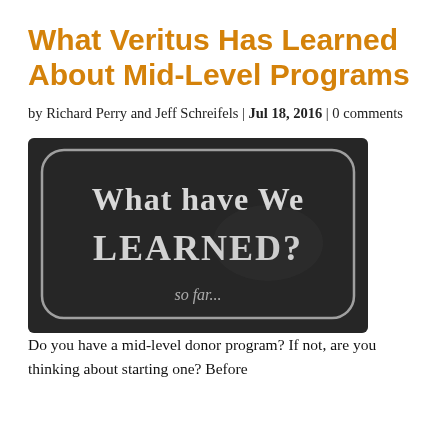What Veritus Has Learned About Mid-Level Programs
by Richard Perry and Jeff Schreifels | Jul 18, 2016 | 0 comments
[Figure (photo): Black and white photo of a chalkboard with chalk handwriting that reads 'What have We LEARNED? so far...' inside a rounded rectangle border.]
Do you have a mid-level donor program? If not, are you thinking about starting one? Before